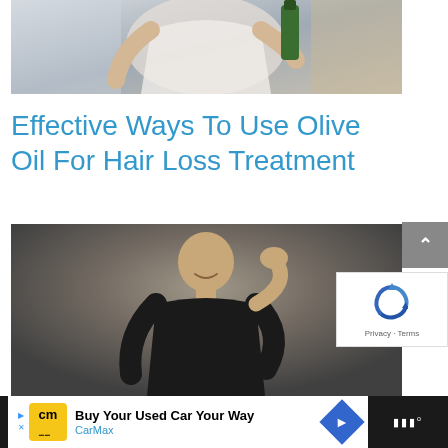[Figure (photo): A man in a white t-shirt holding up a bottle in a store with shelves of products in the background, cropped to show mostly the upper body and arms]
Effective Ways To Use Olive Oil For Hair Loss Treatment
[Figure (photo): A man in a black t-shirt sitting cross-legged on a dark gray background, smiling and resting his head on one hand]
[Figure (other): reCAPTCHA widget with blue circular arrow logo and Privacy - Terms text]
[Figure (other): CarMax advertisement banner with yellow CM logo, text 'Buy Your Used Car Your Way', 'CarMax' in blue, and a blue navigation arrow icon]